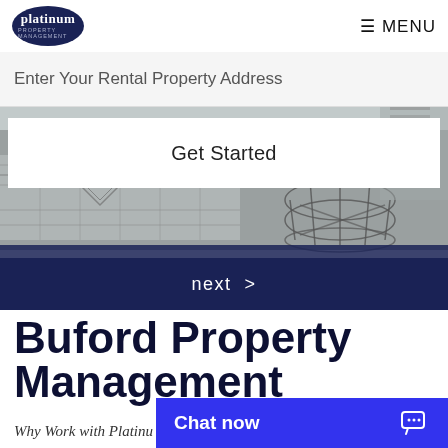platinum property management — MENU
Enter Your Rental Property Address
Get Started
[Figure (photo): Hero background image showing a styled interior room with a geometric patterned rug and wire basket furniture, overlaid with dark navy gradient at bottom]
next >
Buford Property Management
Why Work with Platinum
Chat now